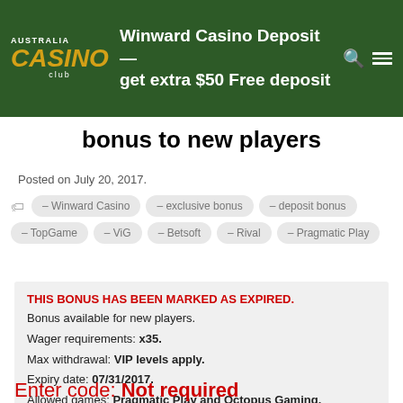Australia Casino Club — Winward Casino Deposit — get extra $50 Free deposit bonus to new players
bonus to new players
Posted on July 20, 2017.
Winward Casino
exclusive bonus
deposit bonus
TopGame
ViG
Betsoft
Rival
Pragmatic Play
THIS BONUS HAS BEEN MARKED AS EXPIRED.
Bonus available for new players.
Wager requirements: x35.
Max withdrawal: VIP levels apply.
Expiry date: 07/31/2017.
Allowed games: Pragmatic Play and Octopus Gaming.
Enter code: Not required